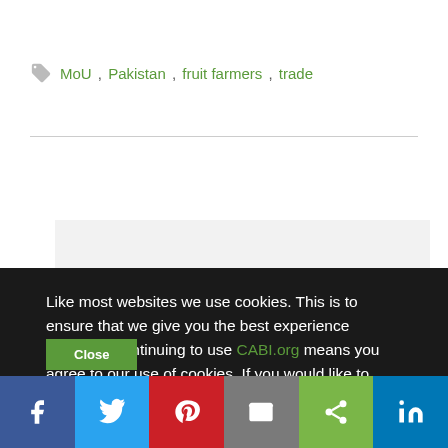MoU , Pakistan , fruit farmers , trade
Join our mailing list
Like most websites we use cookies. This is to ensure that we give you the best experience possible. Continuing to use CABI.org means you agree to our use of cookies. If you would like to, you can learn more about the cookies we use here.